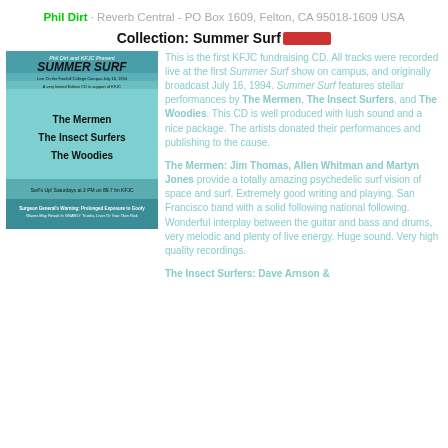Phil Dirt · Reverb Central - PO Box 1609, Felton, CA 95018-1609 USA
Collection: Summer Surf ★★★★★
[Figure (photo): Album cover for Summer Surf CD showing teal/cyan background with 'SUMMER SURF' in large stylized text, listing The Mermen, The Insect Surfers, The Woodies, with Foothill College Campus show date July 16, 1994 and KFJC radio information]
This is the first KFJC fundraising CD. All tracks were recorded live at the first Summer Surf show on campus, and originally broadcast July 16, 1994. Summer Surf features stellar performances by The Mermen, The Insect Surfers, and The Woodies. This CD is well produced with lush sound and a nice package. The artists donated their performances and publishing to the cause.
The Mermen: Jim Thomas, Allen Whitman and Martyn Jones provide a totally amazing psychedelic surf vision of space and surf. Extremely good writing and playing. San Francisco band with a solid following national following. Wonderful interplay between the guitar and bass and drums, very melodic and plenty of live energy. Huge sound. Very high quality recordings.
The Insect Surfers: Dave Arnson &...